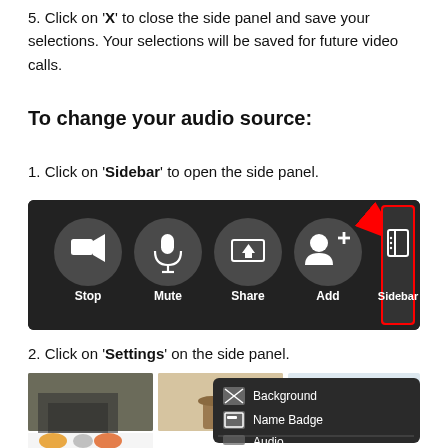5. Click on 'X' to close the side panel and save your selections. Your selections will be saved for future video calls.
To change your audio source:
1. Click on 'Sidebar' to open the side panel.
[Figure (screenshot): Video call toolbar with icons: Stop (camera), Mute (microphone), Share (screen), Add (person+), and Sidebar (panel icon). A red arrow points to the Sidebar button which is highlighted with a red rectangle border.]
2. Click on 'Settings' on the side panel.
[Figure (screenshot): Screenshot showing virtual background selection screen with room images and animal stickers visible. A dark dropdown panel shows menu options: Background, Name Badge, Audio.]